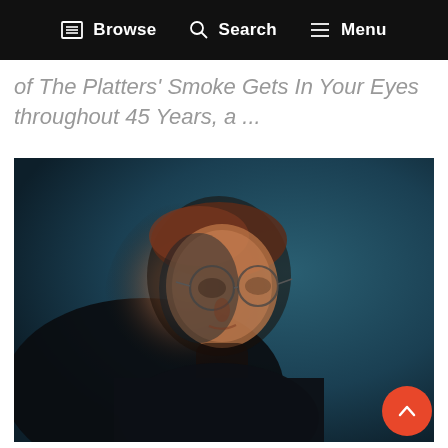Browse   Search   Menu
of The Platters' Smoke Gets In Your Eyes throughout 45 Years, a ...
[Figure (photo): Portrait photo of a man with glasses looking slightly upward, wearing a dark turtleneck, against a dark teal/blue background. The lighting illuminates the left side of his face with warm tones.]